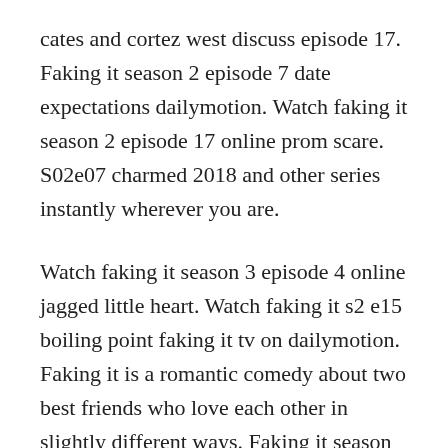cates and cortez west discuss episode 17. Faking it season 2 episode 7 date expectations dailymotion. Watch faking it season 2 episode 17 online prom scare. S02e07 charmed 2018 and other series instantly wherever you are.
Watch faking it season 3 episode 4 online jagged little heart. Watch faking it s2 e15 boiling point faking it tv on dailymotion. Faking it is a romantic comedy about two best friends who love each other in slightly different ways. Faking it season 1 episode 1 watch online the full episode. Lauren and amy